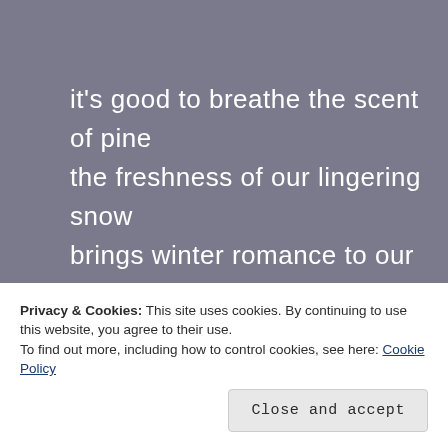it's good to breathe the scent of pine
the freshness of our lingering snow
brings winter romance to our time
[Figure (photo): Photograph of pine trees with green foliage against a light blue sky, partially cropped at the bottom by a cookie consent banner]
Privacy & Cookies: This site uses cookies. By continuing to use this website, you agree to their use.
To find out more, including how to control cookies, see here: Cookie Policy